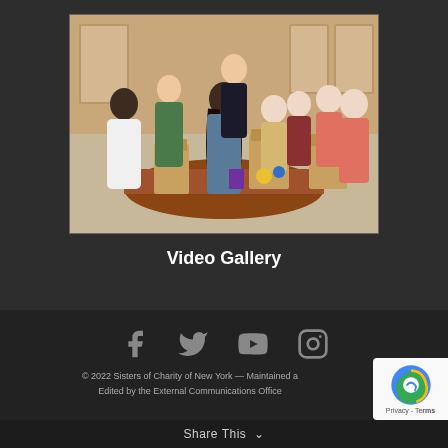[Figure (photo): Group of people gathered around a table packing brown paper bags together indoors, community service activity]
Video Gallery
[Figure (infographic): Social media icons: Facebook, Twitter, YouTube, Instagram]
© 2022 Sisters of Charity of New York — Maintained a... Edited by the External Communications Office
Share This